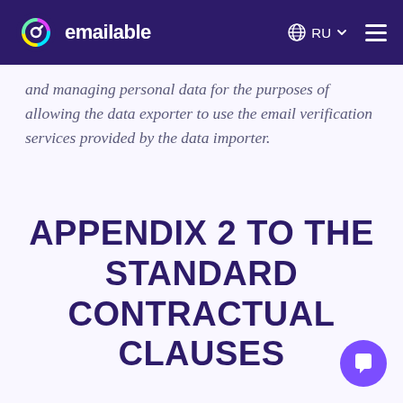emailable
and managing personal data for the purposes of allowing the data exporter to use the email verification services provided by the data importer.
APPENDIX 2 TO THE STANDARD CONTRACTUAL CLAUSES